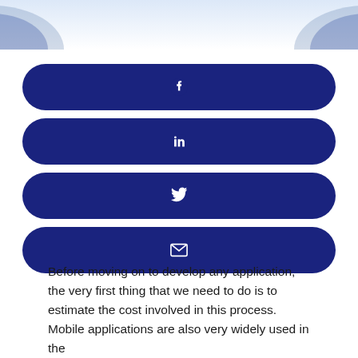[Figure (infographic): Top decorative wave/arc shape in light blue/white gradient at the top of the page]
[Figure (infographic): Four dark blue rounded rectangle social sharing buttons stacked vertically, each centered with a white icon: Facebook (f), LinkedIn (in), Twitter (bird), Email (envelope)]
Before moving on to develop any application, the very first thing that we need to do is to estimate the cost involved in this process. Mobile applications are also very widely used in the